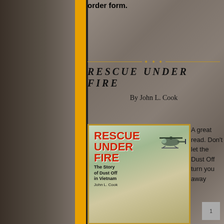order form.
RESCUE UNDER FIRE
By John L. Cook
[Figure (illustration): Book cover of 'Rescue Under Fire: The Story of Dust Off in Vietnam' by John L. Cook, showing a helicopter]
A great read. Don't let the Dust Off turn you away